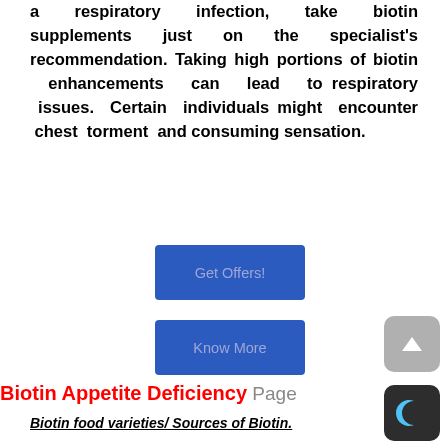a respiratory infection, take biotin supplements just on the specialist's recommendation. Taking high portions of biotin enhancements can lead to respiratory issues. Certain individuals might encounter chest torment and consuming sensation.
[Figure (other): Blue 'Get Offers!' button]
[Figure (other): Blue 'Know More' button]
[Figure (other): Grey scroll-up arrow button in bottom right]
[Figure (other): Dark crescent/moon icon button in bottom right]
Biotin Appetite Deficiency (overlapping red text with page navigation text)
Biotin food varieties/ Sources of Biotin.